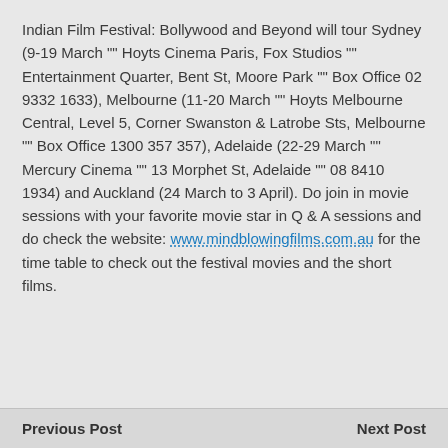Indian Film Festival: Bollywood and Beyond will tour Sydney (9-19 March "" Hoyts Cinema Paris, Fox Studios "" Entertainment Quarter, Bent St, Moore Park "" Box Office 02 9332 1633), Melbourne (11-20 March "" Hoyts Melbourne Central, Level 5, Corner Swanston & Latrobe Sts, Melbourne "" Box Office 1300 357 357), Adelaide (22-29 March "" Mercury Cinema "" 13 Morphet St, Adelaide "" 08 8410 1934) and Auckland (24 March to 3 April). Do join in movie sessions with your favorite movie star in Q & A sessions and do check the website: www.mindblowingfilms.com.au for the time table to check out the festival movies and the short films.
Previous Post    Next Post